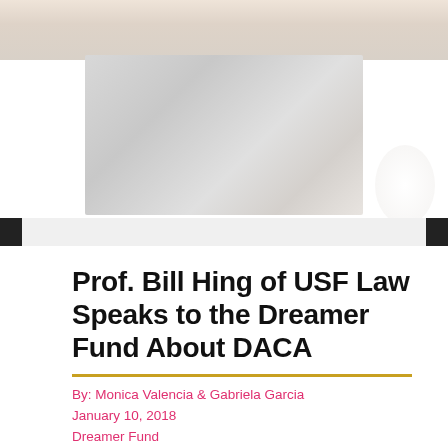[Figure (photo): Blurred/obscured photograph, likely showing a person speaking, with a grayish-white rectangular image area visible against a light background]
Prof. Bill Hing of USF Law Speaks to the Dreamer Fund About DACA
By: Monica Valencia & Gabriela Garcia
January 10, 2018
Dreamer Fund
Photo Credit: USF